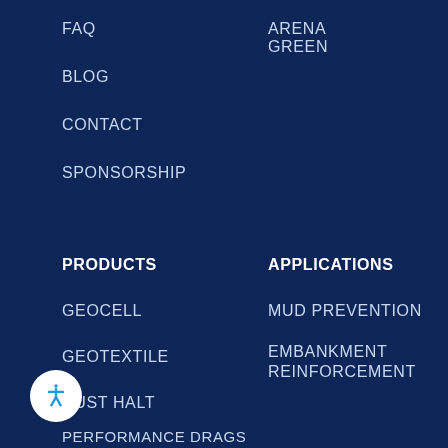FAQ
ARENA GREEN
BLOG
CONTACT
SPONSORSHIP
PRODUCTS
APPLICATIONS
GEOCELL
MUD PREVENTION
GEOTEXTILE
EMBANKMENT REINFORCEMENT
DUST HALT
DRESSAGE ARENA FOOTING
PERFORMANCE DRAGS
ARENA CONSTRUCTION GUIDE
DUST-FREE HORSE